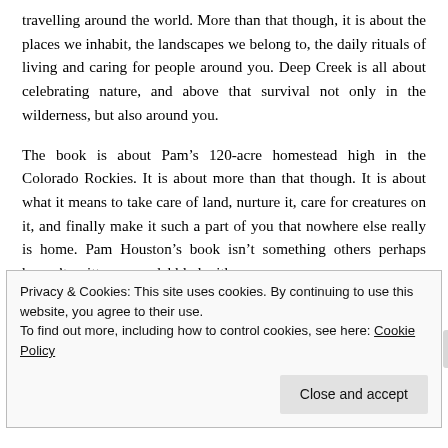travelling around the world. More than that though, it is about the places we inhabit, the landscapes we belong to, the daily rituals of living and caring for people around you. Deep Creek is all about celebrating nature, and above that survival not only in the wilderness, but also around you.
The book is about Pam’s 120-acre homestead high in the Colorado Rockies. It is about more than that though. It is about what it means to take care of land, nurture it, care for creatures on it, and finally make it such a part of you that nowhere else really is home. Pam Houston’s book isn’t something others perhaps haven’t written on or dabbled with.
Privacy & Cookies: This site uses cookies. By continuing to use this website, you agree to their use.
To find out more, including how to control cookies, see here: Cookie Policy

Close and accept